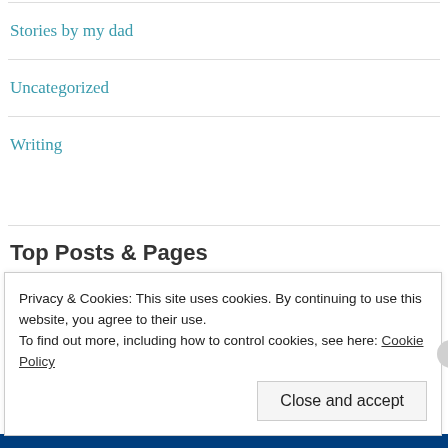Stories by my dad
Uncategorized
Writing
Top Posts & Pages
A Letter to My Daughter on Her 8th Birthday
Privacy & Cookies: This site uses cookies. By continuing to use this website, you agree to their use.
To find out more, including how to control cookies, see here: Cookie Policy
Close and accept